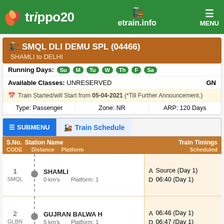trippo20 | etrain.info | MENU
🚂 SMQL DLI DEMU SPL (04466) — SHAMLI to DELHI
Running Days: Su M Tu W Th F Sa
Available Classes: UNRESERVED   GN
Train Started/will Start from 05-04-2021 (*Till Further Announcement.)
Type: Passenger   Zone: NR   ARP: 120 Days
≡ SUBMENU   🚂 Train Schedule
| S.No. CODE | Station Name / Distance / Platform | Train Timings Scheduled |
| --- | --- | --- |
| 1
SMQL | SHAMLI
0 km's    Platform: 1 | A Source (Day 1)
D 06:40 (Day 1) |
| 2
GLBN | GUJRAN BALWA H
5 km's    Platform: 1 | A 06:46 (Day 1)
D 06:47 (Day 1) |
| 3
KZI | KHANDRAWALI H
7 km's    Platform: 1 | A 06:52 (Day 1)
D 06:53 (Day 1) |
| 4
? | ... | A 07:00 (Day 1) |